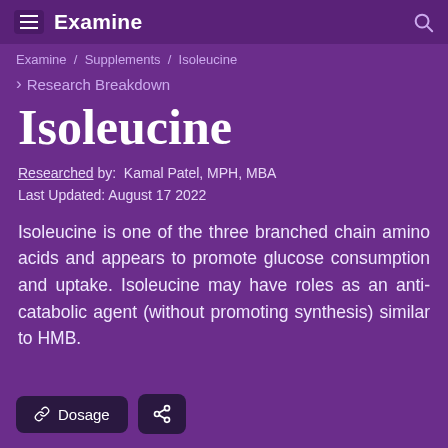Examine
Examine / Supplements / Isoleucine
> Research Breakdown
Isoleucine
Researched by: Kamal Patel, MPH, MBA
Last Updated: August 17 2022
Isoleucine is one of the three branched chain amino acids and appears to promote glucose consumption and uptake. Isoleucine may have roles as an anti-catabolic agent (without promoting synthesis) similar to HMB.
Dosage